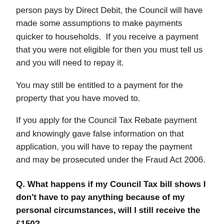person pays by Direct Debit, the Council will have made some assumptions to make payments quicker to households.  If you receive a payment that you were not eligible for then you must tell us and you will need to repay it.
You may still be entitled to a payment for the property that you have moved to.
If you apply for the Council Tax Rebate payment and knowingly gave false information on that application, you will have to repay the payment and may be prosecuted under the Fraud Act 2006.
Q. What happens if my Council Tax bill shows I don't have to pay anything because of my personal circumstances, will I still receive the £150?
This could be because you receive Council Tax